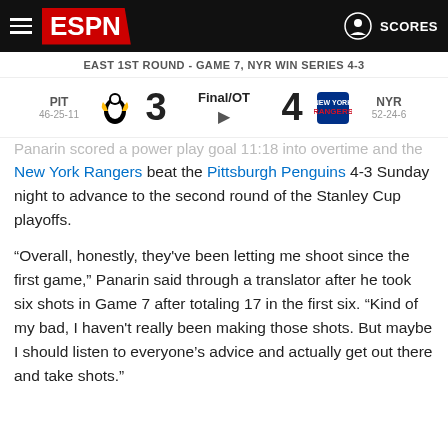ESPN - SCORES
EAST 1ST ROUND - GAME 7, NYR WIN SERIES 4-3
| Team | Score | Status | Score | Team |
| --- | --- | --- | --- | --- |
| PIT 46-25-11 | 3 | Final/OT | 4 | NYR 52-24-6 |
Panarin scored a power play goal 11:18 into overtime and the New York Rangers beat the Pittsburgh Penguins 4-3 Sunday night to advance to the second round of the Stanley Cup playoffs.
“Overall, honestly, they've been letting me shoot since the first game,” Panarin said through a translator after he took six shots in Game 7 after totaling 17 in the first six. “Kind of my bad, I haven't really been making those shots. But maybe I should listen to everyone’s advice and actually get out there and take shots.”